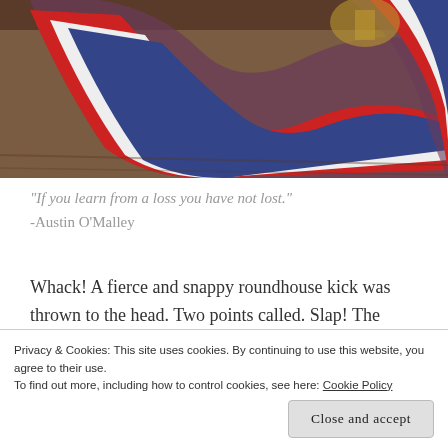[Figure (photo): A red, white, and blue striped ribbon/medal ribbon coiled on a wooden surface, with a trophy or award visible in the background.]
“If you learn from a loss you have not lost.”
-Austin O’Malley
Whack! A fierce and snappy roundhouse kick was thrown to the head. Two points called. Slap! The
Privacy & Cookies: This site uses cookies. By continuing to use this website, you agree to their use.
To find out more, including how to control cookies, see here: Cookie Policy
Close and accept